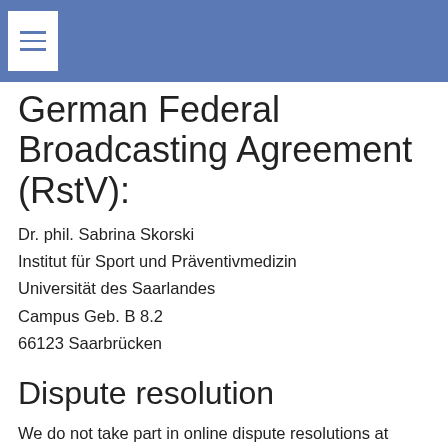German Federal Broadcasting Agreement (RstV):
Dr. phil. Sabrina Skorski
Institut für Sport und Präventivmedizin
Universität des Saarlandes
Campus Geb. B 8.2
66123 Saarbrücken
Dispute resolution
We do not take part in online dispute resolutions at consumer arbitration boards.
Liability for Contents
As service providers, we are liable for own contents of these websites according to Sec. 7, paragraph 1 German